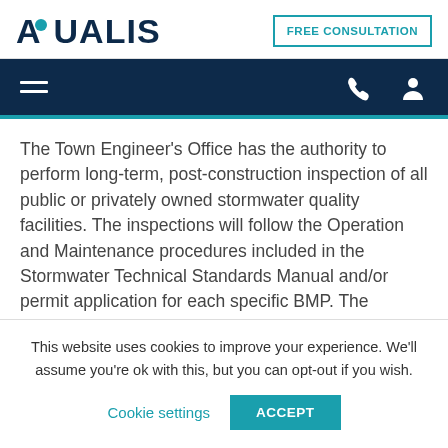AQUALIS | FREE CONSULTATION
The Town Engineer's Office has the authority to perform long-term, post-construction inspection of all public or privately owned stormwater quality facilities. The inspections will follow the Operation and Maintenance procedures included in the Stormwater Technical Standards Manual and/or permit application for each specific BMP. The inspection will cover physical conditions, available water quality storage capacity and the operational condition of key facility elements. Noted
This website uses cookies to improve your experience. We'll assume you're ok with this, but you can opt-out if you wish. Cookie settings ACCEPT